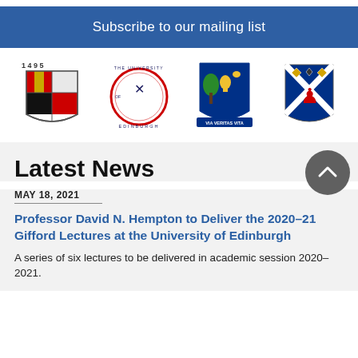Subscribe to our mailing list
[Figure (logo): Four university coat of arms logos: University of Aberdeen (1495), University of Edinburgh, University of Glasgow (Via Veritas Vita), and University of St Andrews]
Latest News
MAY 18, 2021
Professor David N. Hempton to Deliver the 2020–21 Gifford Lectures at the University of Edinburgh
A series of six lectures to be delivered in academic session 2020–2021.